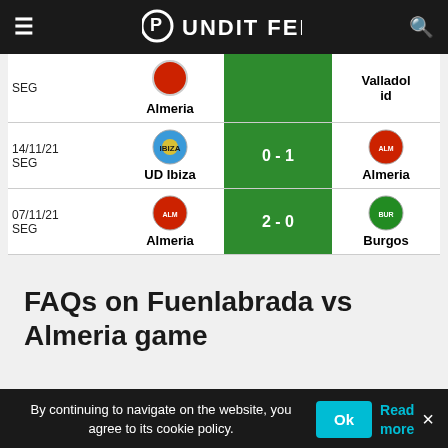Pundit Feed
| Date/League | Home Team | Score | Away Team |
| --- | --- | --- | --- |
| SEG | Almeria | [partial] | Valladolid |
| 14/11/21 SEG | UD Ibiza | 0 - 1 | Almeria |
| 07/11/21 SEG | Almeria | 2 - 0 | Burgos |
FAQs on Fuenlabrada vs Almeria game
By continuing to navigate on the website, you agree to its cookie policy.